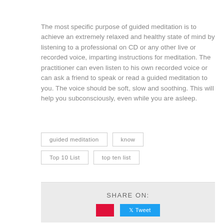The most specific purpose of guided meditation is to achieve an extremely relaxed and healthy state of mind by listening to a professional on CD or any other live or recorded voice, imparting instructions for meditation. The practitioner can even listen to his own recorded voice or can ask a friend to speak or read a guided meditation to you. The voice should be soft, slow and soothing. This will help you subconsciously, even while you are asleep.
guided meditation
know
Top 10 List
top ten list
SHARE ON: